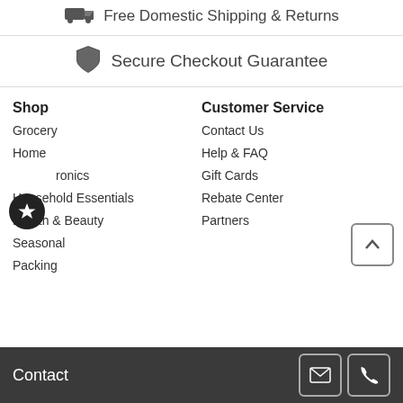Free Domestic Shipping & Returns
Secure Checkout Guarantee
Shop
Grocery
Home
Electronics
Household Essentials
Health & Beauty
Seasonal
Packing
Customer Service
Contact Us
Help & FAQ
Gift Cards
Rebate Center
Partners
Contact